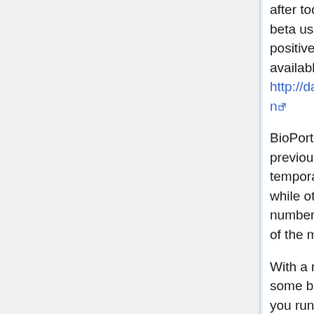after today) and old content. The reports from beta users of the new API have been uniformly positive. Draft documentation for the new API is available at http://data.bioontology.org/documentation
BioPortal users will note a few changes from the previous version. Some of these changes are temporary (we didn't quite get everything done…) while others are permanent. There are also a number of minor and cosmetic changes. The list of the more important changes is available below.
With a release of this size, it is inevitable that some bugs have crept in. Please report any that you run across to the support@bioontology.org mailing list. We are confident that we will be resolving...